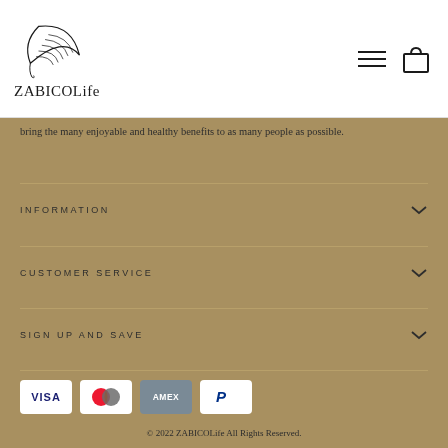[Figure (logo): ZABICOLife logo with leaf illustration and brand name text]
bring the many enjoyable and healthy benefits to as many people as possible.
INFORMATION
CUSTOMER SERVICE
SIGN UP AND SAVE
[Figure (infographic): Payment method icons: VISA, Mastercard, American Express (AMEX), PayPal]
© 2022 ZABICOLife All Rights Reserved.